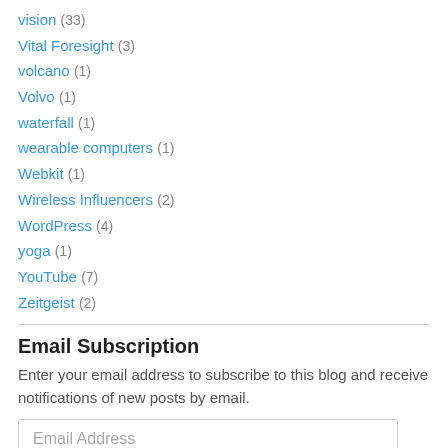vision (33)
Vital Foresight (3)
volcano (1)
Volvo (1)
waterfall (1)
wearable computers (1)
Webkit (1)
Wireless Influencers (2)
WordPress (4)
yoga (1)
YouTube (7)
Zeitgeist (2)
Email Subscription
Enter your email address to subscribe to this blog and receive notifications of new posts by email.
Email Address